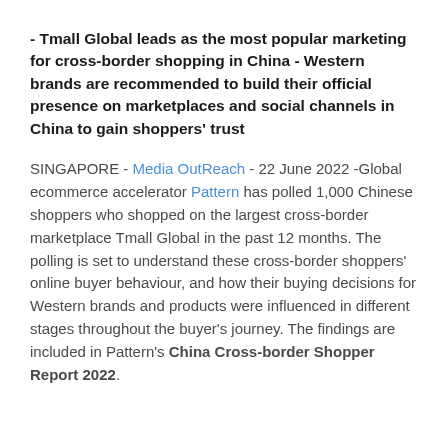- Tmall Global leads as the most popular marketing for cross-border shopping in China - Western brands are recommended to build their official presence on marketplaces and social channels in China to gain shoppers' trust
SINGAPORE - Media OutReach - 22 June 2022 -Global ecommerce accelerator Pattern has polled 1,000 Chinese shoppers who shopped on the largest cross-border marketplace Tmall Global in the past 12 months. The polling is set to understand these cross-border shoppers' online buyer behaviour, and how their buying decisions for Western brands and products were influenced in different stages throughout the buyer's journey. The findings are included in Pattern's China Cross-border Shopper Report 2022.